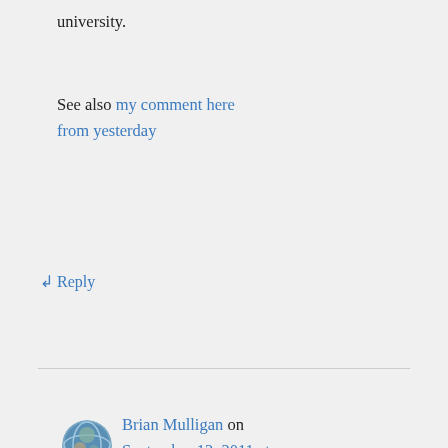university.
See also my comment here from yesterday
↩ Reply
Brian Mulligan on September 12, 2011 at 8:31 am
Privacy & Cookies: This site uses cookies. By continuing to use this website, you agree to their use.
To find out more, including how to control cookies, see here: Cookie Policy
Close and accept
that there is some